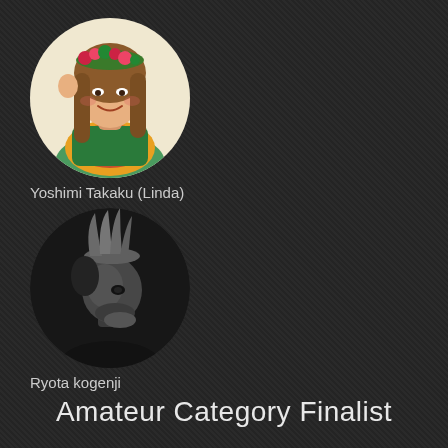[Figure (photo): Circular portrait of Yoshimi Takaku (Linda), a woman wearing a floral crown and colorful tropical outfit, smiling]
Yoshimi Takaku (Linda)
[Figure (photo): Circular portrait of Ryota kogennji, a man with an elaborate styled mohawk hairstyle, black and white photo]
Ryota kogenji
Amateur Category Finalist